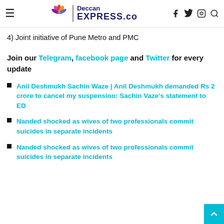Deccan EXPRESS.co — navigation header with menu, logo, and social icons
4) Joint initiative of Pune Metro and PMC
Join our Telegram, facebook page and Twitter for every update
Anil Deshmukh Sachin Waze | Anil Deshmukh demanded Rs 2 crore to cancel my suspension: Sachin Vaze's statement to ED
Nanded shocked as wives of two professionals commit suicides in separate incidents
Nanded shocked as wives of two professionals commit suicides in separate incidents